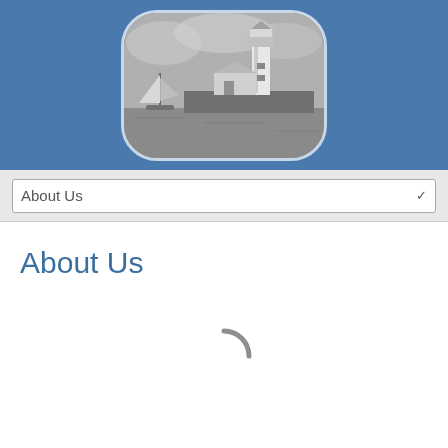[Figure (photo): Black and white photo of a lighthouse with a sailboat on the water, displayed in a rounded rectangle frame on a blue banner background]
About Us
About Us
[Figure (other): Loading spinner (partial arc) at the bottom of the page]